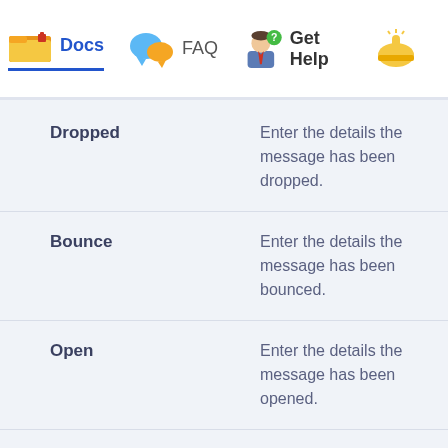Docs   FAQ   Get Help
| Term | Description |
| --- | --- |
| Dropped | Enter the details the message has been dropped. |
| Bounce | Enter the details the message has been bounced. |
| Open | Enter the details the message has been opened. |
| Delivered | Enter the details whether the message is |